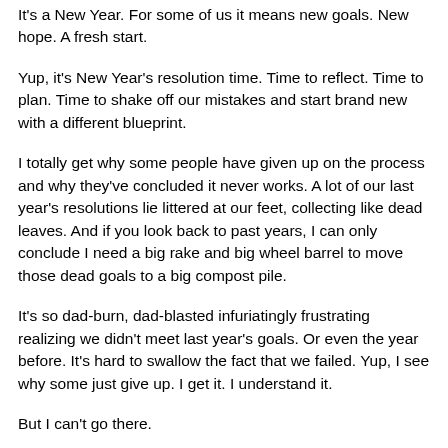It's a New Year.  For some of us it means new goals.  New hope.  A fresh start.
Yup, it's New Year's resolution time.  Time to reflect.  Time to plan.  Time to shake off our mistakes and start brand new with a different blueprint.
I totally get why some people have given up on the process and why they've concluded it never works.  A lot of our last year's resolutions lie littered at our feet, collecting like dead leaves.  And if you look back to past years, I can only conclude I need a big rake and big wheel barrel to move those dead goals to a big compost pile.
It's so dad-burn, dad-blasted infuriatingly frustrating realizing we didn't meet last year's goals.  Or even the year before.  It's hard to swallow the fact that we failed.  Yup, I see why some just give up.  I get it.  I understand it.
But I can't go there.
Now, I'm not questioning anyone's process.  Nor will I try to tell you what you should do.  I think everyone deals with hope, goals, and even failure differently.  The self-improvement journey is a very personal process.  What motivates one person, can send another into sheer panic and…